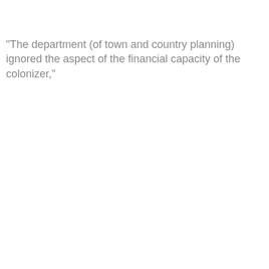"The department (of town and country planning) ignored the aspect of the financial capacity of the colonizer,"